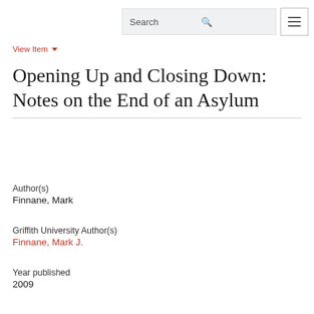Search [menu]
View Item
Opening Up and Closing Down: Notes on the End of an Asylum
Author(s)
Finnane, Mark
Griffith University Author(s)
Finnane, Mark J.
Year published
2009